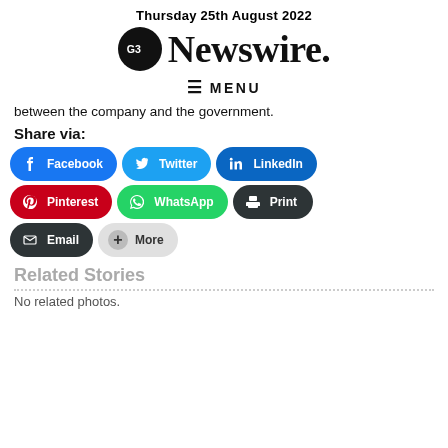Thursday 25th August 2022 — G3 Newswire.
≡ MENU
between the company and the government.
Share via:
[Figure (infographic): Social share buttons: Facebook, Twitter, LinkedIn, Pinterest, WhatsApp, Print, Email, More]
Related Stories
No related photos.